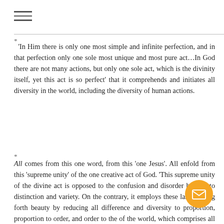[Figure (other): Hamburger menu icon (three horizontal lines)]
'In Him there is only one most simple and infinite perfection, and in that perfection only one sole most unique and most pure act…In God there are not many actions, but only one sole act, which is the divinity itself, yet this act is so perfect' that it comprehends and initiates all diversity in the world, including the diversity of human actions.
All comes from this one word, from this 'one Jesus'. All enfold from this 'supreme unity' of the one creative act of God. 'This supreme unity of the divine act is opposed to the confusion and disorder but not to distinction and variety. On the contrary, it employs these last to bring forth beauty by reducing all difference and diversity to proportion, proportion to order, and order to the of the world, which comprises all created things, both